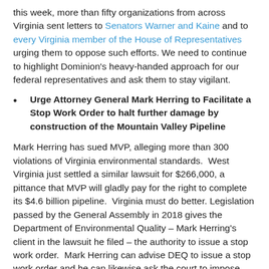this week, more than fifty organizations from across Virginia sent letters to Senators Warner and Kaine and to every Virginia member of the House of Representatives urging them to oppose such efforts. We need to continue to highlight Dominion's heavy-handed approach for our federal representatives and ask them to stay vigilant.
Urge Attorney General Mark Herring to Facilitate a Stop Work Order to halt further damage by construction of the Mountain Valley Pipeline
Mark Herring has sued MVP, alleging more than 300 violations of Virginia environmental standards. West Virginia just settled a similar lawsuit for $266,000, a pittance that MVP will gladly pay for the right to complete its $4.6 billion pipeline. Virginia must do better. Legislation passed by the General Assembly in 2018 gives the Department of Environmental Quality – Mark Herring's client in the lawsuit he filed – the authority to issue a stop work order. Mark Herring can advise DEQ to issue a stop work order and he can likewise ask the court to impose one.